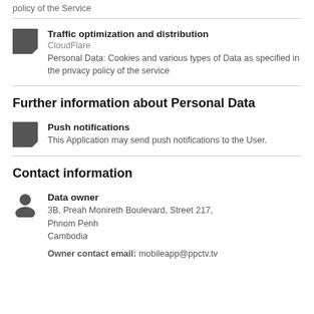policy of the Service
Traffic optimization and distribution
CloudFlare
Personal Data: Cookies and various types of Data as specified in the privacy policy of the service
Further information about Personal Data
Push notifications
This Application may send push notifications to the User.
Contact information
Data owner
3B, Preah Monireth Boulevard, Street 217,
Phnom Penh
Cambodia

Owner contact email: mobileapp@ppctv.tv